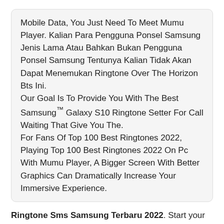Mobile Data, You Just Need To Meet Mumu Player. Kalian Para Pengguna Ponsel Samsung Jenis Lama Atau Bahkan Bukan Pengguna Ponsel Samsung Tentunya Kalian Tidak Akan Dapat Menemukan Ringtone Over The Horizon Bts Ini. Our Goal Is To Provide You With The Best Samsung™ Galaxy S10 Ringtone Setter For Call Waiting That Give You The. For Fans Of Top 100 Best Ringtones 2022, Playing Top 100 Best Ringtones 2022 On Pc With Mumu Player, A Bigger Screen With Better Graphics Can Dramatically Increase Your Immersive Experience.
Ringtone Sms Samsung Terbaru 2022. Start your search now and free your phone. To achieve full key mapping support for precise control and get rid of the limitation of battery or mobile data, you just need to meet mumu player.